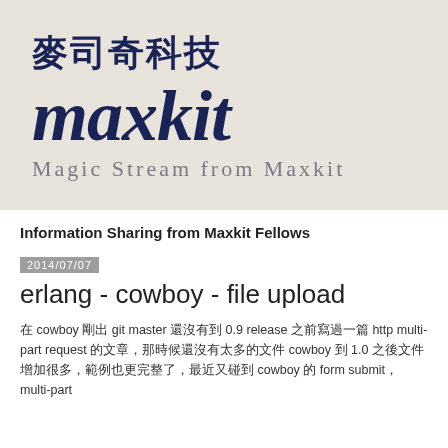[Figure (logo): Maxkit company logo with Chinese characters 麥司奇科技, bold italic 'maxkit' text, and tagline 'Magic Stream from Maxkit' on a beige/grey background]
Information Sharing from Maxkit Fellows
2014/07/07
erlang - cowboy - file upload
在 cowboy 剛出 git master 還沒有到 0.9 release 之前寫過一篇 http multi-part request 的文章，那時候還沒有太多的文件 cowboy 到 1.0 之後文件增加很多，範例也更完整了，最近又碰到 cowboy 的 form submit，multi-part...